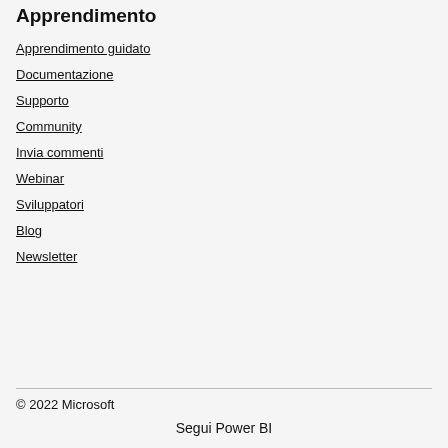Apprendimento
Apprendimento guidato
Documentazione
Supporto
Community
Invia commenti
Webinar
Sviluppatori
Blog
Newsletter
© 2022 Microsoft
Segui Power BI